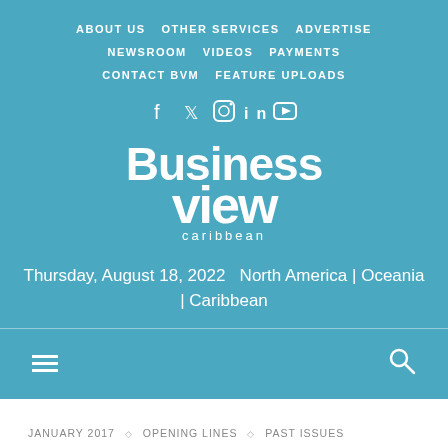ABOUT US  OTHER SERVICES  ADVERTISE  NEWSROOM  VIDEOS  PAYMENTS  CONTACT BVM  FEATURE UPLOADS
[Figure (logo): Business View Caribbean logo with social media icons (Facebook, Twitter, Instagram, LinkedIn, YouTube)]
Thursday, August 18, 2022  North America | Oceania | Caribbean
JANUARY 2017 ◇ OPENING LINES ◇ PAST ISSUES
WYNDHAM HOTEL GROUP ANNOUNCES NEW US$160